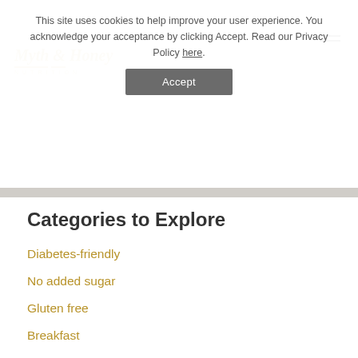Myth & Honey Nutrition (logo/navigation header)
This site uses cookies to help improve your user experience. You acknowledge your acceptance by clicking Accept. Read our Privacy Policy here.
Accept
Categories to Explore
Diabetes-friendly
No added sugar
Gluten free
Breakfast
Lunch
Snacks